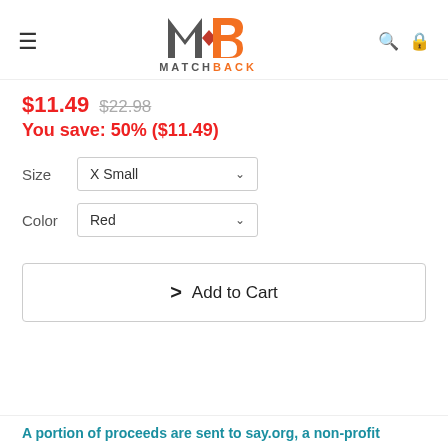MATCHBACK logo with navigation icons
$11.49 $22.98
You save: 50% ($11.49)
Size  X Small
Color  Red
Add to Cart
A portion of proceeds are sent to say.org, a non-profit